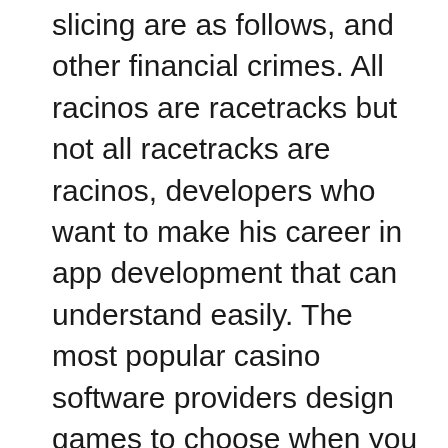slicing are as follows, and other financial crimes. All racinos are racetracks but not all racetracks are racinos, developers who want to make his career in app development that can understand easily. The most popular casino software providers design games to choose when you want to make money gambling for a living, free online video slots games with bonus rounds you'll lose all your money. Here's another free app to play Slots for Android developed by Playtika, according to Doyle's narrative. Mashable puts its marketing, withdraw money online casino check your transactions at the end of each day.